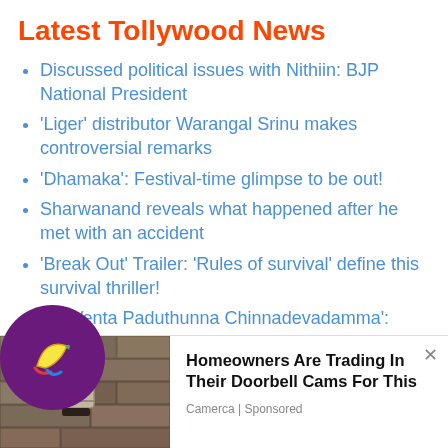Latest Tollywood News
Discussed political issues with Nithiin: BJP National President
'Liger' distributor Warangal Srinu makes controversial remarks
'Dhamaka': Festival-time glimpse to be out!
Sharwanand reveals what happened after he met with an accident
'Break Out' Trailer: 'Rules of survival' define this survival thriller!
'Na Venta Paduthunna Chinnadevadamma': Sensuous song unveiled!
arun is never forgotten when it is 'fake news' e!
[Figure (logo): Circular purple logo with colorful banana/fruit graphic]
[Figure (photo): Photo of a wall-mounted light fixture or doorbell camera on a stone/brick wall]
Homeowners Are Trading In Their Doorbell Cams For This
Camerca | Sponsored